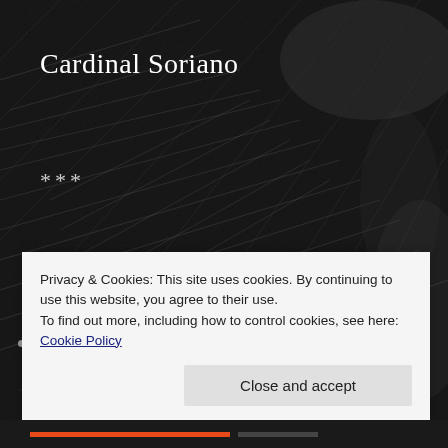[Figure (photo): Dark textured grayscale background, resembling a close-up of a dark animal fur or fibrous surface.]
Cardinal Soriano
***
April 15, 1900
To Abbot René Jean-Baptiste
Privacy & Cookies: This site uses cookies. By continuing to use this website, you agree to their use.
To find out more, including how to control cookies, see here: Cookie Policy
Close and accept